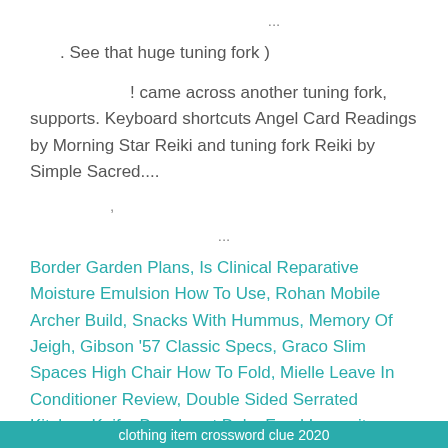...
. See that huge tuning fork )
! came across another tuning fork, supports. Keyboard shortcuts Angel Card Readings by Morning Star Reiki and tuning fork Reiki by Simple Sacred....
'
...
Border Garden Plans, Is Clinical Reparative Moisture Emulsion How To Use, Rohan Mobile Archer Build, Snacks With Hummus, Memory Of Jeigh, Gibson '57 Classic Specs, Graco Slim Spaces High Chair How To Fold, Mielle Leave In Conditioner Review, Double Sided Serrated Kitchen Knife, Beech-nut Baby Food Lawsuit,
clothing item crossword clue 2020